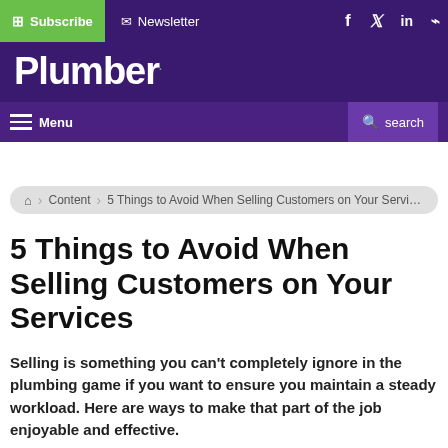Subscribe | Newsletter | f | in | RSS
Plumber
Menu | search
Content > 5 Things to Avoid When Selling Customers on Your Services
5 Things to Avoid When Selling Customers on Your Services
Selling is something you can't completely ignore in the plumbing game if you want to ensure you maintain a steady workload. Here are ways to make that part of the job enjoyable and effective.